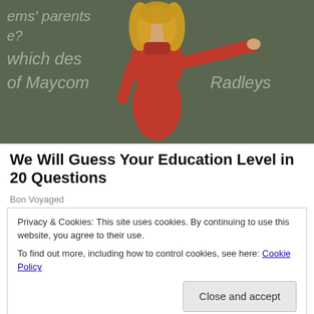[Figure (photo): A blonde woman in a red top pointing toward the camera, standing in front of a chalkboard with partial text reading 'which des', 'of Maycom', 'Radleys']
We Will Guess Your Education Level in 20 Questions
Bon Voyaged
Privacy & Cookies: This site uses cookies. By continuing to use this website, you agree to their use.
To find out more, including how to control cookies, see here: Cookie Policy
Close and accept
[Figure (photo): Row of small thumbnail images at the bottom of the page]